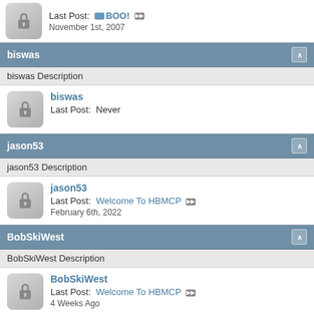Last Post: BOO! — November 1st, 2007
biswas
biswas Description
biswas — Last Post: Never
jason53
jason53 Description
jason53 — Last Post: Welcome To HBMCP — February 6th, 2022
BobSkiWest
BobSkiWest Description
BobSkiWest — Last Post: Welcome To HBMCP — 4 Weeks Ago
casablanca pen and ink — Last Post: diamonds and gunfire — July 15th, 2017